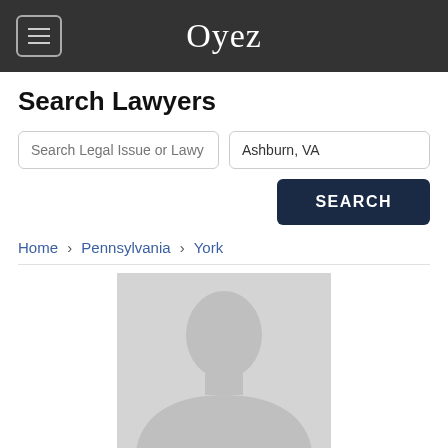Oyez
Search Lawyers
Search Legal Issue or Lawy | Ashburn, VA | SEARCH
Home › Pennsylvania › York
[Figure (photo): Default placeholder silhouette avatar image for a lawyer profile]